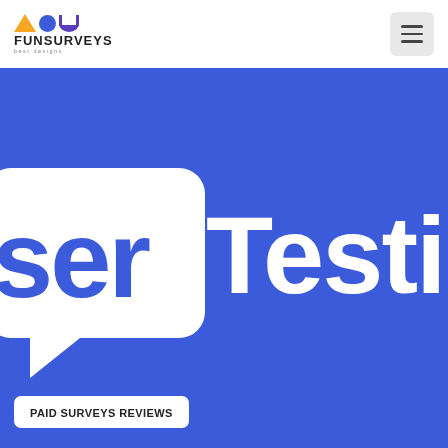FUNSURVEYS Best Designs
[Figure (illustration): Blue background hero image showing a white speech bubble on the left with the letters 'ser' in blue text inside/overlapping it, and the word 'Testing' in white text to the right, cropped. A white badge at the bottom left reads 'PAID SURVEYS REVIEWS'.]